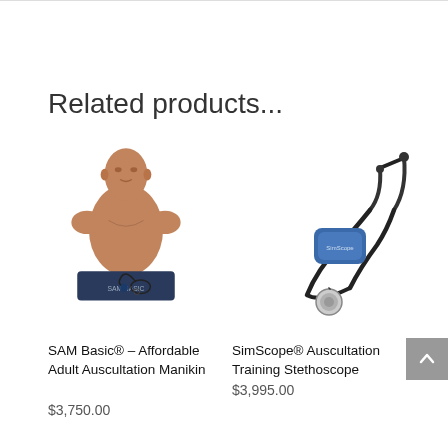Related products...
[Figure (photo): SAM Basic auscultation manikin — upper-body torso mannequin on a dark base with a small stethoscope attached]
SAM Basic® – Affordable Adult Auscultation Manikin
$3,750.00
[Figure (photo): SimScope auscultation training stethoscope — electronic stethoscope with blue body and earpieces on a white background]
SimScope® Auscultation Training Stethoscope
$3,995.00